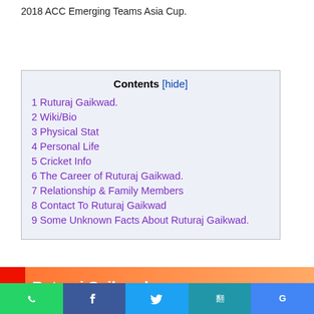2018 ACC Emerging Teams Asia Cup.
| Contents |
| --- |
| 1 Ruturaj Gaikwad. |
| 2 Wiki/Bio |
| 3 Physical Stat |
| 4 Personal Life |
| 5 Cricket Info |
| 6 The Career of Ruturaj Gaikwad. |
| 7 Relationship & Family Members |
| 8 Contact To Ruturaj Gaikwad |
| 9 Some Unknown Facts About Ruturaj Gaikwad. |
Ruturaj Gaikwad.